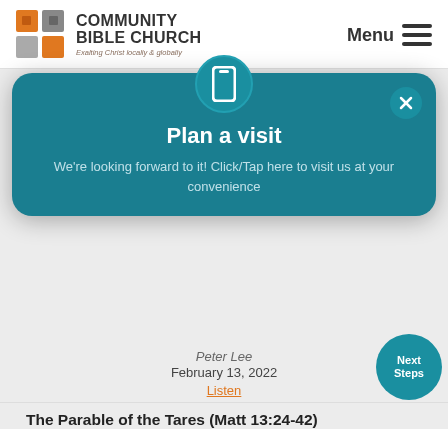[Figure (logo): Community Bible Church logo with orange and grey square grid icon and text 'COMMUNITY BIBLE CHURCH' with tagline 'Exalting Christ locally & globally']
Never Lose Heart!
Peter Lee
February 20, 2022
Listen
[Figure (screenshot): Teal modal popup with phone icon, title 'Plan a visit', description 'We're looking forward to it! Click/Tap here to visit us at your convenience', and a close X button]
Peter Lee
February 13, 2022
Listen
The Parable of the Tares (Matt 13:24-42)